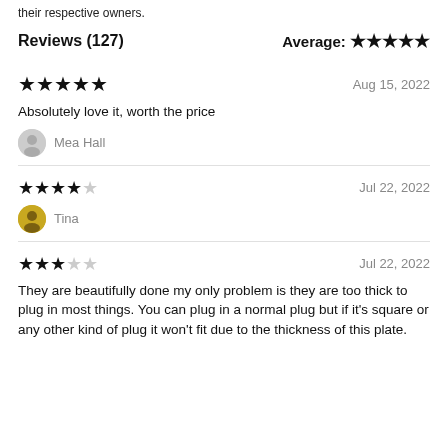their respective owners.
Reviews (127)    Average: ★★★★★
★★★★★  Aug 15, 2022 — Absolutely love it, worth the price — Mea Hall
★★★★☆  Jul 22, 2022 — Tina
★★★☆☆  Jul 22, 2022 — They are beautifully done my only problem is they are too thick to plug in most things. You can plug in a normal plug but if it's square or any other kind of plug it won't fit due to the thickness of this plate.